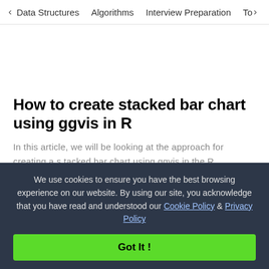< Data Structures   Algorithms   Interview Preparation   To>
How to create stacked bar chart using ggvis in R
In this article, we will be looking at the approach for creating a stacked bar chart using ggvis in the R programming language. Create the... Read More
Picked   R-Charts   R-Graphs   R-Packages   R-plots   R Language
We use cookies to ensure you have the best browsing experience on our website. By using our site, you acknowledge that you have read and understood our Cookie Policy & Privacy Policy
Got It !